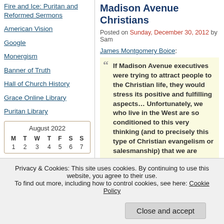Fire and Ice: Puritan and Reformed Sermons
American Vision
Google
Monergism
Banner of Truth
Hall of Church History
Grace Online Library
Puritan Library
| M | T | W | T | F | S | S |
| --- | --- | --- | --- | --- | --- | --- |
| 1 | 2 | 3 | 4 | 5 | 6 | 7 |
Madison Avenue Christians
Posted on Sunday, December 30, 2012 by Sam
James Montgomery Boice:
If Madison Avenue executives were trying to attract people to the Christian life, they would stress its positive and fulfilling aspects… Unfortunately, we who live in the West are so conditioned to this very thinking (and to precisely this type of Christian evangelism or salesmanship) that we are almost shocked when we
Privacy & Cookies: This site uses cookies. By continuing to use this website, you agree to their use.
To find out more, including how to control cookies, see here: Cookie Policy